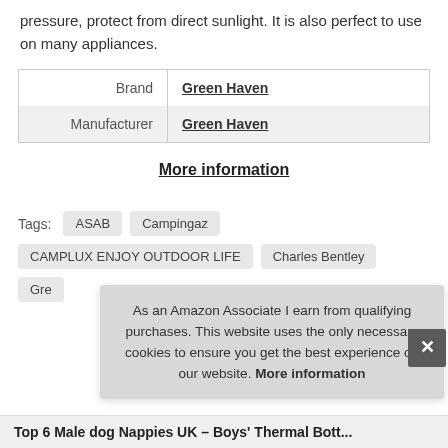pressure, protect from direct sunlight. It is also perfect to use on many appliances.
| Brand | Green Haven |
| Manufacturer | Green Haven |
More information
Tags: ASAB  Campingaz  CAMPLUX ENJOY OUTDOOR LIFE  Charles Bentley  Gre...
As an Amazon Associate I earn from qualifying purchases. This website uses the only necessary cookies to ensure you get the best experience on our website. More information
Top 6 Male dog Nappies UK – Boys' Thermal Bott...